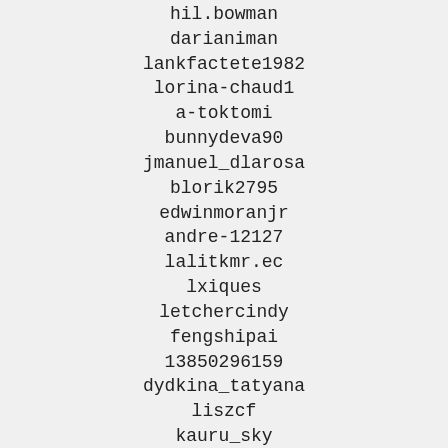hil.bowman
darianiman
lankfactete1982
lorina-chaud1
a-toktomi
bunnydeva90
jmanuel_dlarosa
blorik2795
edwinmoranjr
andre-12127
lalitkmr.ec
lxiques
letchercindy
fengshipai
13850296159
dydkina_tatyana
liszcf
kauru_sky
betharchpeggy_lund
anthonyandskyrim
milind.godse
carolyne.stafford
hasan.tareq.144
mikkiv
malek.el.nadrine